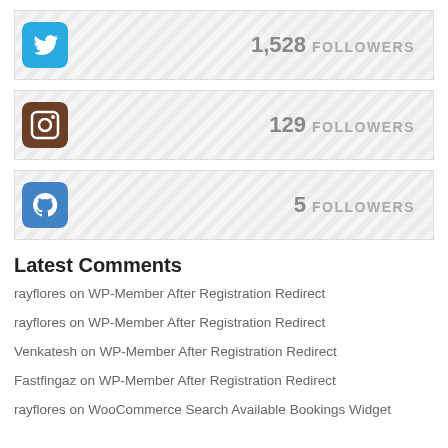[Figure (infographic): Twitter social follower card showing 1,528 FOLLOWERS with Twitter bird icon]
[Figure (infographic): Instagram social follower card showing 129 FOLLOWERS with Instagram camera icon]
[Figure (infographic): GitHub social follower card showing 5 FOLLOWERS with GitHub cat icon]
Latest Comments
rayflores on WP-Member After Registration Redirect
rayflores on WP-Member After Registration Redirect
Venkatesh on WP-Member After Registration Redirect
Fastfingaz on WP-Member After Registration Redirect
rayflores on WooCommerce Search Available Bookings Widget